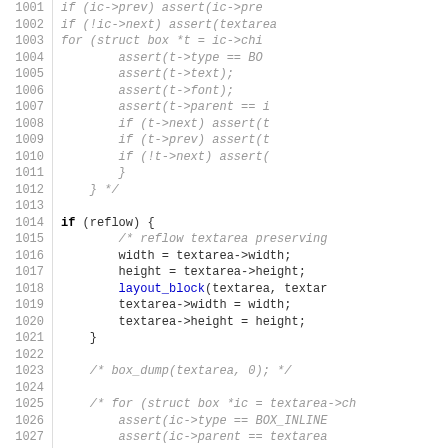[Figure (screenshot): Source code listing with line numbers from 1001 to 1031, showing C code with comments, conditionals, and function calls in monospace font.]